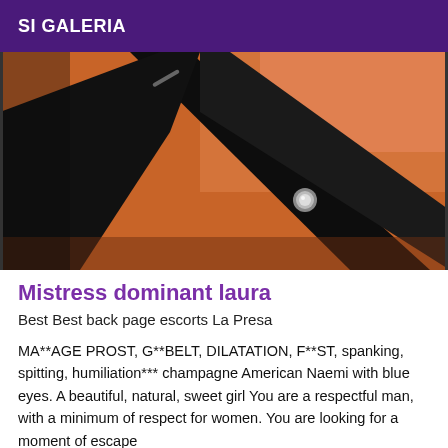SI GALERIA
[Figure (photo): Close-up photo showing black leather straps or garment against warm orange/brown skin tones with a metallic stud visible]
Mistress dominant laura
Best Best back page escorts La Presa
MA**AGE PROST, G**BELT, DILATATION, F**ST, spanking, spitting, humiliation*** champagne American Naemi with blue eyes. A beautiful, natural, sweet girl You are a respectful man, with a minimum of respect for women. You are looking for a moment of escape